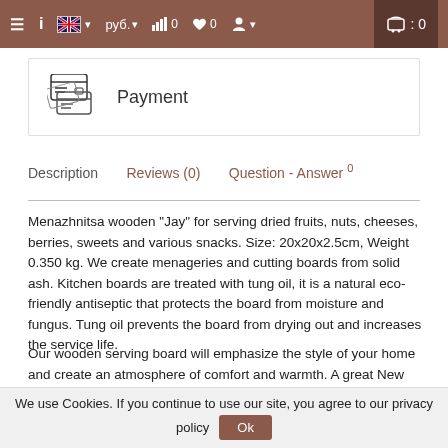≡  i  🇬🇧 ▾  руб. ▾  📊 0  ♥ 0  👤 ▾  🛒 : 0
[Figure (illustration): Payment icon showing credit card with dashes and a hand holding cards, next to the text 'Payment']
Payment
Description   Reviews (0)   Question - Answer 0
Menazhnitsa wooden "Jay" for serving dried fruits, nuts, cheeses, berries, sweets and various snacks. Size: 20x20x2.5cm, Weight 0.350 kg. We create menageries and cutting boards from solid ash. Kitchen boards are treated with tung oil, it is a natural eco-friendly antiseptic that protects the board from moisture and fungus. Tung oil prevents the board from drying out and increases the service life.
Our wooden serving board will emphasize the style of your home and create an atmosphere of comfort and warmth. A great New Year gift and a holiday...
We use Cookies. If you continue to use our site, you agree to our privacy policy  Ok